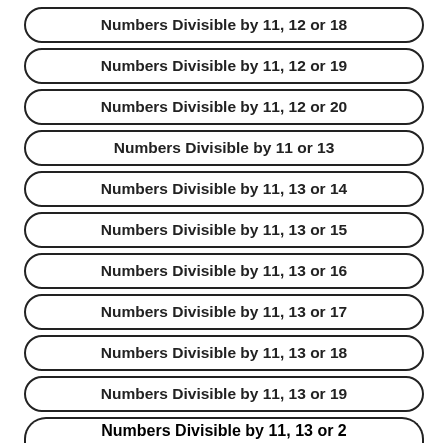Numbers Divisible by 11, 12 or 18
Numbers Divisible by 11, 12 or 19
Numbers Divisible by 11, 12 or 20
Numbers Divisible by 11 or 13
Numbers Divisible by 11, 13 or 14
Numbers Divisible by 11, 13 or 15
Numbers Divisible by 11, 13 or 16
Numbers Divisible by 11, 13 or 17
Numbers Divisible by 11, 13 or 18
Numbers Divisible by 11, 13 or 19
Numbers Divisible by 11, 13 or 20 (partial)